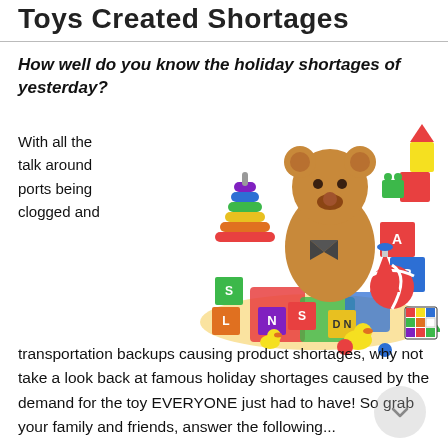Toys Created Shortages
How well do you know the holiday shortages of yesterday?
With all the talk around ports being clogged and
[Figure (photo): A colorful pile of various children's toys including a teddy bear, building blocks, letter blocks, rubber ducks, toy train, rainbow rings stacker, spinning tops, puzzle mats, Rubik's cube, and other colorful plastic toys.]
transportation backups causing product shortages, why not take a look back at famous holiday shortages caused by the demand for the toy EVERYONE just had to have! So grab your family and friends, answer the following...